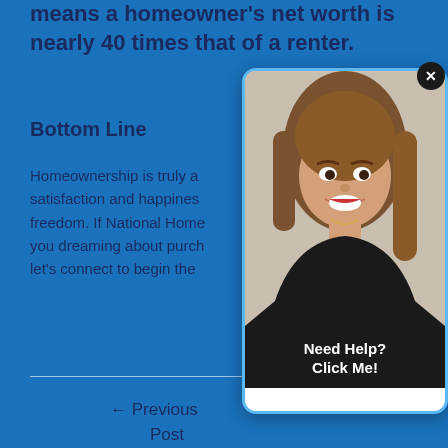means a homeowner's net worth is nearly 40 times that of a renter.
Bottom Line
Homeownership is truly a... satisfaction and happiness... freedom. If National Home... you dreaming about purch... let's connect to begin the...
[Figure (photo): Popup card showing a smiling woman with long brown hair wearing black, with a 'Need Help? Click Me!' call to action banner at the bottom, and a close (x) button at top right.]
← Previous
Post